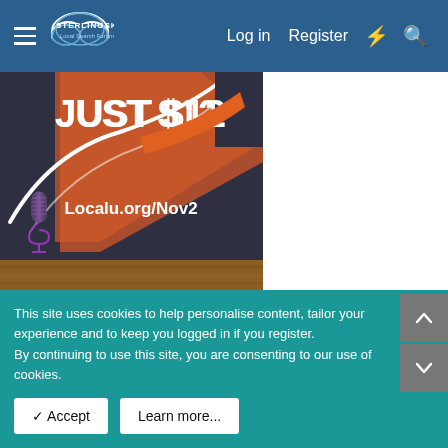Sterling Sky Local Search Forum — Log in | Register
[Figure (photo): Promotional image showing 'JUST $125' text on dark background with orange graphic element, microphone illustration, and 'Localu.org/Nov2' text, with wood-textured bottom]
Newest Posts
All Google Reviews acquired over 4 years have been
This site uses cookies to help personalise content, tailor your experience and to keep you logged in if you register.
By continuing to use this site, you are consenting to our use of cookies.